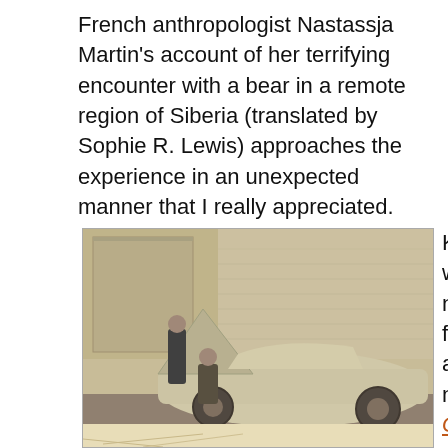French anthropologist Nastassja Martin's account of her terrifying encounter with a bear in a remote region of Siberia (translated by Sophie R. Lewis) approaches the experience in an unexpected manner that I really appreciated.
[Figure (photo): Sepia-toned black and white photograph of two men crouching near a vintage car with its hood open, parked in front of a brick wall]
Keeping with nonfiction for a moment, Grieving: Dispat